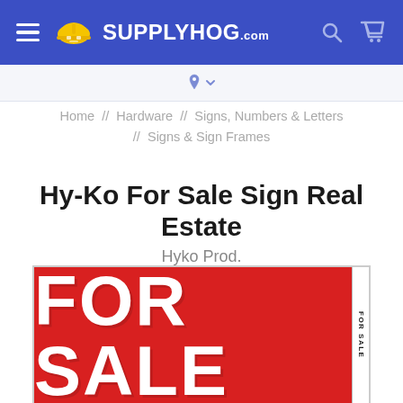SUPPLYHOG.com
Home // Hardware // Signs, Numbers & Letters // Signs & Sign Frames
Hy-Ko For Sale Sign Real Estate
Hyko Prod.
[Figure (photo): A red For Sale sign with large white bold text reading FOR SALE, with a small vertical tag on the right side also reading FOR SALE.]